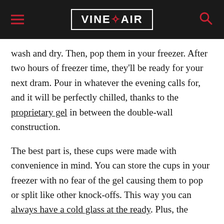VINEPAIR
wash and dry. Then, pop them in your freezer. After two hours of freezer time, they'll be ready for your next dram. Pour in whatever the evening calls for, and it will be perfectly chilled, thanks to the proprietary gel in between the double-wall construction.
The best part is, these cups were made with convenience in mind. You can store the cups in your freezer with no fear of the gel causing them to pop or split like other knock-offs. This way you can always have a cold glass at the ready. Plus, the